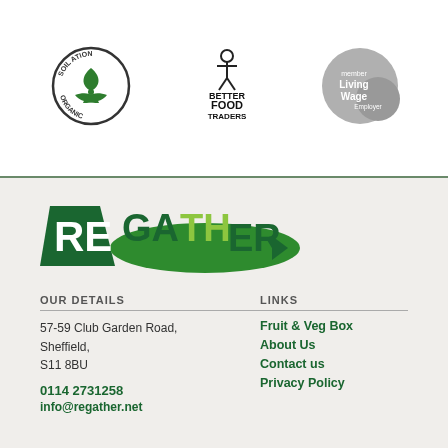[Figure (logo): Soil Association Organic certification logo - circular badge with leaf design]
[Figure (logo): Better Food Traders logo - black text with stylized figure]
[Figure (logo): Living Wage Employer logo - grey circular badge]
[Figure (logo): Regather logo - green text with green geometric shapes forming a fish/leaf shape]
OUR DETAILS
57-59 Club Garden Road, Sheffield, S11 8BU
0114 2731258
info@regather.net
LINKS
Fruit & Veg Box
About Us
Contact us
Privacy Policy